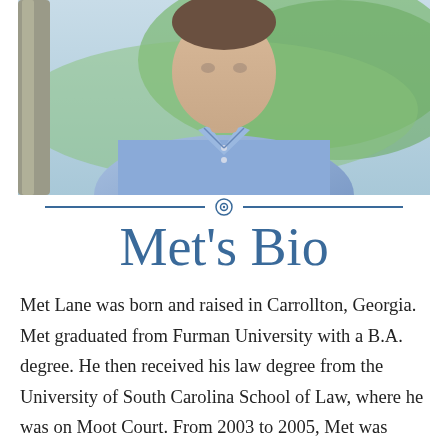[Figure (photo): Outdoor portrait photo of a man wearing a light blue button-up shirt, standing in front of a green leafy background with a tree trunk on the left side.]
Met's Bio
Met Lane was born and raised in Carrollton, Georgia. Met graduated from Furman University with a B.A. degree. He then received his law degree from the University of South Carolina School of Law, where he was on Moot Court. From 2003 to 2005, Met was